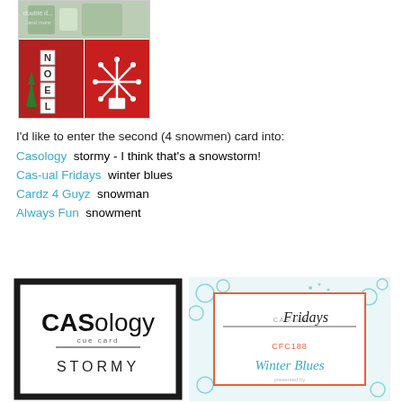[Figure (photo): Collage of Christmas decorations: top shows table setting with greenery, bottom-left shows NOEL block letters with red background and mini green trees, bottom-right shows red gift wrap with white snowflake]
I'd like to enter the second (4 snowmen) card into:
Casology  stormy - I think that's a snowstorm!
Cas-ual Fridays  winter blues
Cardz 4 Guyz  snowman
Always Fun  snowment
[Figure (photo): CASology cue card badge showing 'CASology cue card STORMY' in black and white with thick black border]
[Figure (photo): CAS-ual Fridays challenge card CFC188 Winter Blues with orange border and teal snowflake decorations]